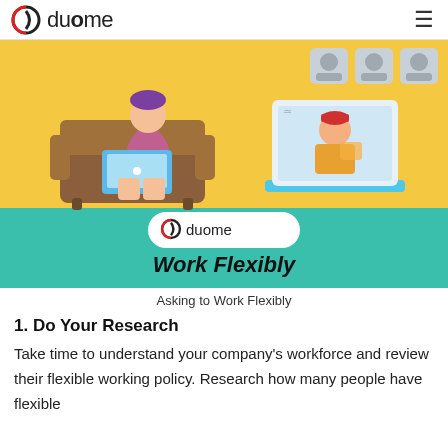duome
[Figure (illustration): Illustration of a person working on a laptop on a sofa (left) and a person on a video call on a laptop screen (right), with a yellow background on top and teal background at bottom. The Duome logo and 'Work Flexibly' text appear on the teal section.]
Asking to Work Flexibly
1. Do Your Research
Take time to understand your company's workforce and review their flexible working policy. Research how many people have flexible